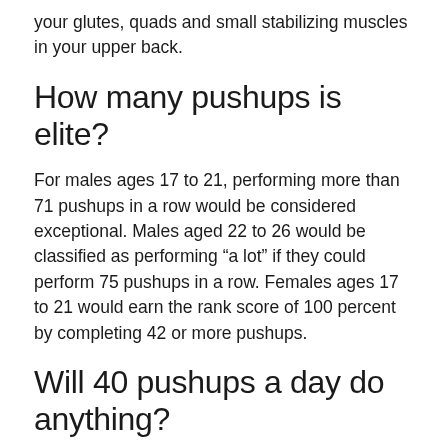your glutes, quads and small stabilizing muscles in your upper back.
How many pushups is elite?
For males ages 17 to 21, performing more than 71 pushups in a row would be considered exceptional. Males aged 22 to 26 would be classified as performing “a lot” if they could perform 75 pushups in a row. Females ages 17 to 21 would earn the rank score of 100 percent by completing 42 or more pushups.
Will 40 pushups a day do anything?